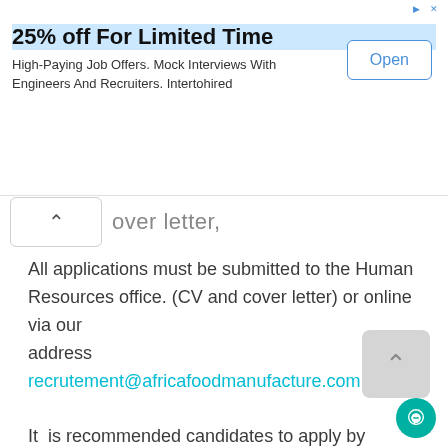[Figure (screenshot): Advertisement banner: '25% off For Limited Time' with blue highlighted title, body text 'High-Paying Job Offers. Mock Interviews With Engineers And Recruiters. Intertohired', and an 'Open' button with blue border on the right. Ad label and close button (x) at top right.]
over letter,
All applications must be submitted to the Human Resources office. (CV and cover letter) or online via our address recrutement@africafoodmanufacture.com
It  is recommended candidates to apply by mentioning in the subject title of the position advertised.